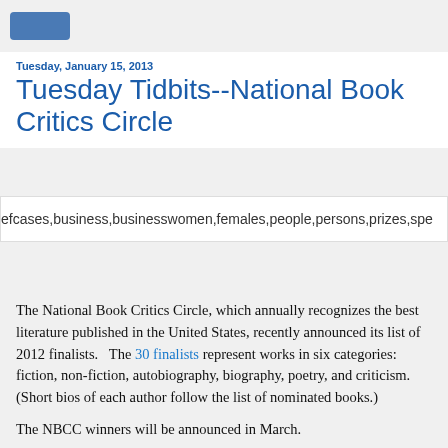Tuesday, January 15, 2013
Tuesday Tidbits--National Book Critics Circle
efcases,business,businesswomen,females,people,persons,prizes,spe
The National Book Critics Circle, which annually recognizes the best literature published in the United States, recently announced its list of 2012 finalists.   The 30 finalists represent works in six categories: fiction, non-fiction, autobiography, biography, poetry, and criticism.  (Short bios of each author follow the list of nominated books.)
The NBCC winners will be announced in March.
Past award winners (1975-2011) are available at this NBCC link.